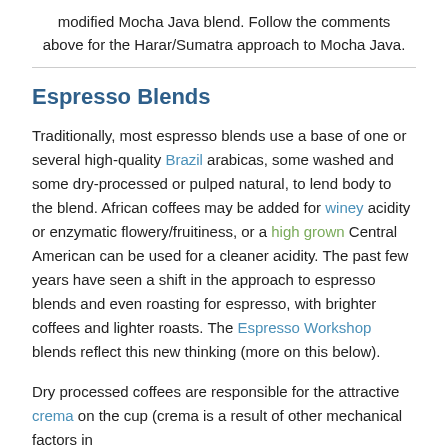modified Mocha Java blend. Follow the comments above for the Harar/Sumatra approach to Mocha Java.
Espresso Blends
Traditionally, most espresso blends use a base of one or several high-quality Brazil arabicas, some washed and some dry-processed or pulped natural, to lend body to the blend. African coffees may be added for winey acidity or enzymatic flowery/fruitiness, or a high grown Central American can be used for a cleaner acidity. The past few years have seen a shift in the approach to espresso blends and even roasting for espresso, with brighter coffees and lighter roasts. The Espresso Workshop blends reflect this new thinking (more on this below).
Dry processed coffees are responsible for the attractive crema on the cup (crema is a result of other mechanical factors in